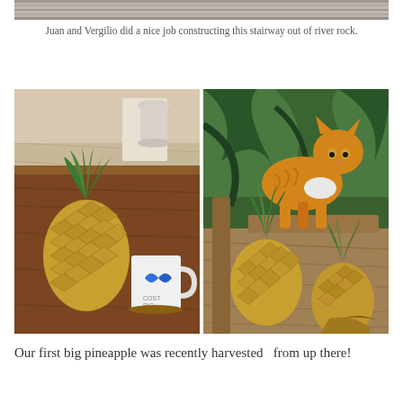[Figure (photo): Partial top image showing a stairway made of river rock]
Juan and Vergilio did a nice job constructing this stairway out of river rock.
[Figure (photo): Two side-by-side photos: left shows a large pineapple next to a Costa Rica butterfly mug on a wooden table; right shows an orange and white cat sniffing two pineapples on a wooden outdoor surface surrounded by tropical plants.]
Our first big pineapple was recently harvested  from up there!